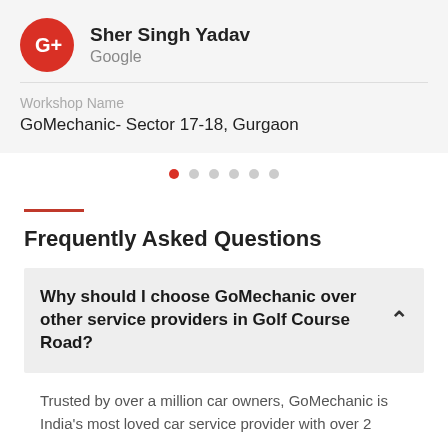Sher Singh Yadav
Google
Workshop Name
GoMechanic- Sector 17-18, Gurgaon
Frequently Asked Questions
Why should I choose GoMechanic over other service providers in Golf Course Road?
Trusted by over a million car owners, GoMechanic is India's most loved car service provider with over 2